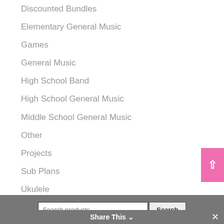Discounted Bundles
Elementary General Music
Games
General Music
High School Band
High School General Music
Middle School General Music
Other
Projects
Sub Plans
Ukulele
Search products... Search Share This ×